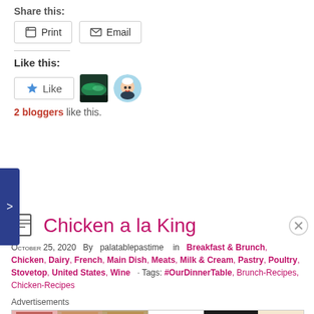Share this:
Print
Email
Like this:
2 bloggers like this.
Chicken a la King
October 25, 2020  By  palatablepastime   in  Breakfast & Brunch, Chicken, Dairy, French, Main Dish, Meats, Milk & Cream, Pastry, Poultry, Stovetop, United States, Wine  Tags: #OurDinnerTable, brunch-recipes, chicken-recipes
Advertisements
[Figure (photo): Ulta Beauty advertisement banner with makeup imagery and SHOP NOW call to action]